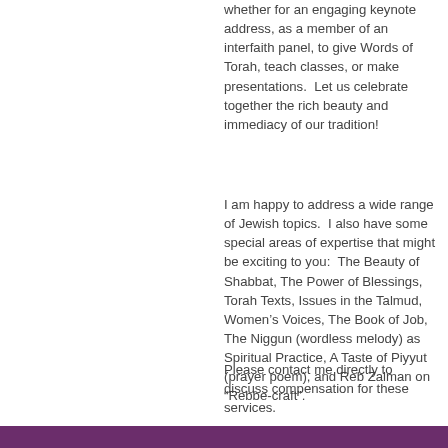whether for an engaging keynote address, as a member of an interfaith panel, to give Words of Torah, teach classes, or make presentations.  Let us celebrate together the rich beauty and immediacy of our tradition!
I am happy to address a wide range of Jewish topics.  I also have some special areas of expertise that might be exciting to you:  The Beauty of Shabbat, The Power of Blessings, Torah Texts, Issues in the Talmud, Women’s Voices, The Book of Job, The Niggun (wordless melody) as Spiritual Practice, A Taste of Piyyut (prayer poem), and Reb Zalman on “Rebbe-craft”.
Please contact me directly to discuss compensation for these services.